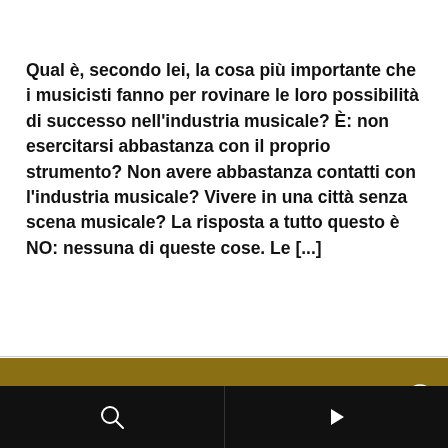Qual è, secondo lei, la cosa più importante che i musicisti fanno per rovinare le loro possibilità di successo nell'industria musicale? È: non esercitarsi abbastanza con il proprio strumento? Non avere abbastanza contatti con l'industria musicale? Vivere in una città senza scena musicale? La risposta a tutto questo è NO: nessuna di queste cose. Le [...]
ELECTRONIC MUSIC  EVENTS  MUSIC  NEWS  19 ♥